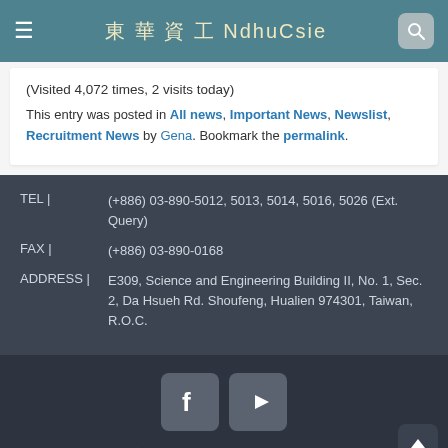東 華 資 工 NdhuCsie
(Visited 4,072 times, 2 visits today)
This entry was posted in All news, Important News, Newslist, Recruitment News by Gena. Bookmark the permalink.
TEL | (+886) 03-890-5012, 5013, 5014, 5016, 5026 (Ext. Query)
FAX | (+886) 03-890-0168
ADDRESS | E309, Science and Engineering Building II, No. 1, Sec. 2, Da Hsueh Rd. Shoufeng, Hualien 974301, Taiwan, R.O.C.
Copyright © 2022 國立東華大學 資訊工程學系暨研究所 All Rights Reserved.